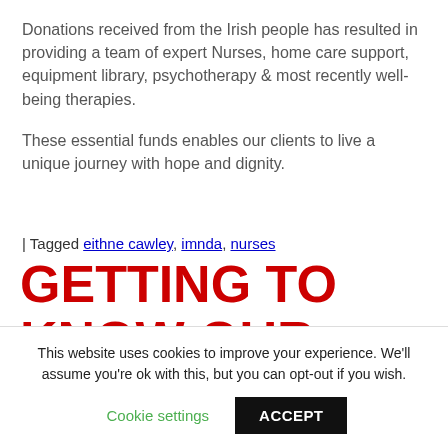Donations received from the Irish people has resulted in providing a team of expert Nurses, home care support, equipment library, psychotherapy & most recently well-being therapies.
These essential funds enables our clients to live a unique journey with hope and dignity.
| Tagged eithne cawley, imnda, nurses
GETTING TO KNOW OUR NURSES- FIDELMA
This website uses cookies to improve your experience. We'll assume you're ok with this, but you can opt-out if you wish.
Cookie settings  ACCEPT